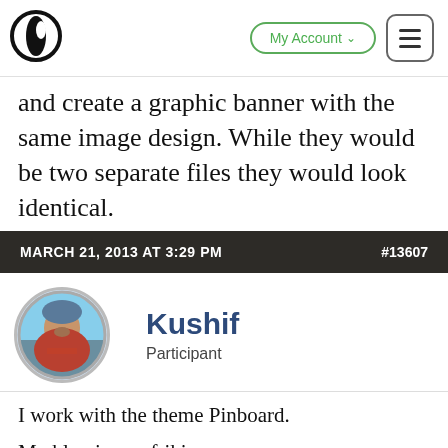My Account ☰
and create a graphic banner with the same image design. While they would be two separate files they would look identical.
MARCH 21, 2013 AT 3:29 PM  #13607
[Figure (photo): Circular avatar photo of a bald man with beard wearing a red jacket, outdoors with snowy mountains in background]
Kushif
Participant
I work with the theme Pinboard.
My blog is: egofriki.com
My problem is that I do not want my logo only appears above in the header. I